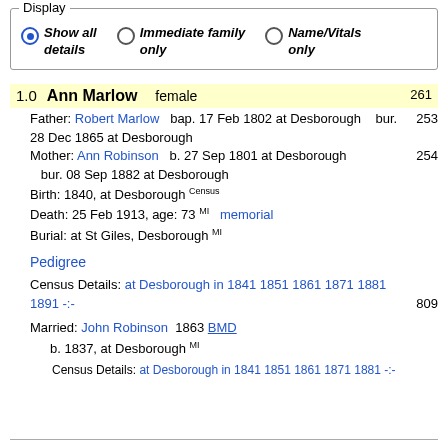Display
Show all details (selected) | Immediate family only | Name/Vitals only
1.0 Ann Marlow  female  261
Father: Robert Marlow   bap. 17 Feb 1802 at Desborough    bur. 28 Dec 1865 at Desborough  253
Mother: Ann Robinson    b. 27 Sep 1801 at Desborough  bur. 08 Sep 1882 at Desborough  254
Birth: 1840, at Desborough Census
Death: 25 Feb 1913, age: 73 MI   memorial
Burial: at St Giles, Desborough MI
Pedigree
Census Details: at Desborough in 1841 1851 1861 1871 1881 1891 -:-  809
Married: John Robinson  1863  BMD
  b. 1837, at Desborough MI
Census Details: at Desborough in 1841 1851 1861 1871 1881 -:-